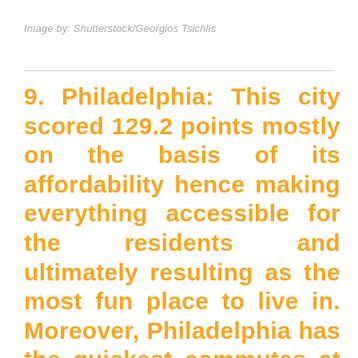Image by: Shutterstock/Georgios Tsichlis
9. Philadelphia: This city scored 129.2 points mostly on the basis of its affordability hence making everything accessible for the residents and ultimately resulting as the most fun place to live in. Moreover, Philadelphia has the quickest commutes at 24 minutes hence signifying the easy outdoor life of the residents there.